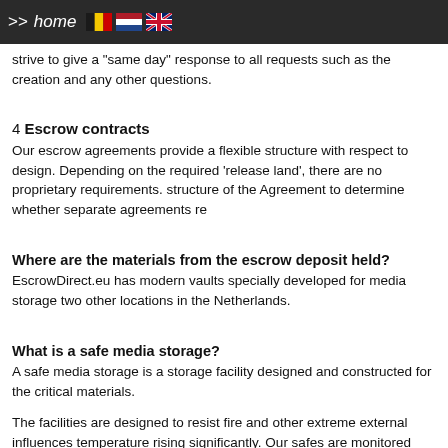>> home
strive to give a "same day" response to all requests such as the creation and any other questions.
4 Escrow contracts
Our escrow agreements provide a flexible structure with respect to design. Depending on the required 'release land', there are no proprietary requirements. structure of the Agreement to determine whether separate agreements re
Where are the materials from the escrow deposit held?
EscrowDirect.eu has modern vaults specially developed for media storage two other locations in the Netherlands.
What is a safe media storage?
A safe media storage is a storage facility designed and constructed for the critical materials.
The facilities are designed to resist fire and other extreme external influences temperature rising significantly. Our safes are monitored through personal and keys.
Why is it important to have a safe storage for media to use when sto